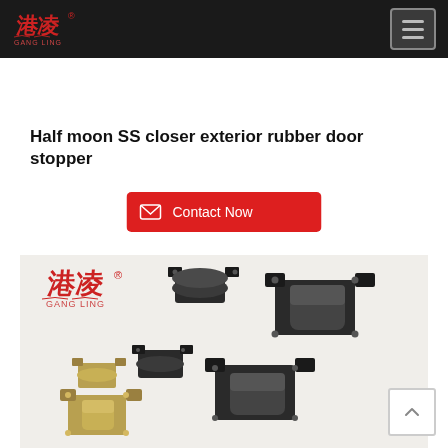[Figure (logo): Gang Ling brand logo in red Chinese characters with GANG LING text below, on dark navbar]
Half moon SS closer exterior rubber door stopper
[Figure (infographic): Red rounded rectangle button labeled 'Contact Now' with mail envelope icon]
[Figure (photo): Product photo showing multiple metal door stoppers/closers in various sizes and finishes (dark bronze and gold/silver), displayed on light background with Gang Ling logo watermark in upper left]